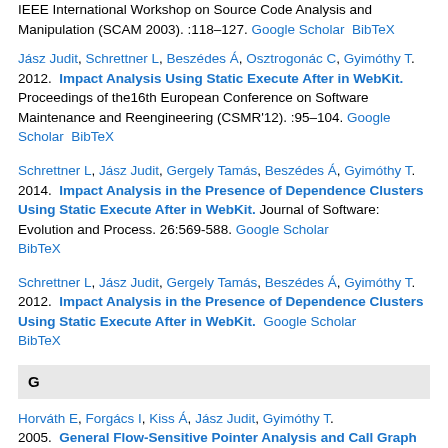IEEE International Workshop on Source Code Analysis and Manipulation (SCAM 2003). :118–127. Google Scholar BibTeX
Jász Judit, Schrettner L, Beszédes Á, Osztrogonác C, Gyimóthy T. 2012. Impact Analysis Using Static Execute After in WebKit. Proceedings of the16th European Conference on Software Maintenance and Reengineering (CSMR'12). :95–104. Google Scholar BibTeX
Schrettner L, Jász Judit, Gergely Tamás, Beszédes Á, Gyimóthy T. 2014. Impact Analysis in the Presence of Dependence Clusters Using Static Execute After in WebKit. Journal of Software: Evolution and Process. 26:569-588. Google Scholar BibTeX
Schrettner L, Jász Judit, Gergely Tamás, Beszédes Á, Gyimóthy T. 2012. Impact Analysis in the Presence of Dependence Clusters Using Static Execute After in WebKit. Google Scholar BibTeX
G
Horváth E, Forgács I, Kiss Á, Jász Judit, Gyimóthy T. 2005. General Flow-Sensitive Pointer Analysis and Call Graph